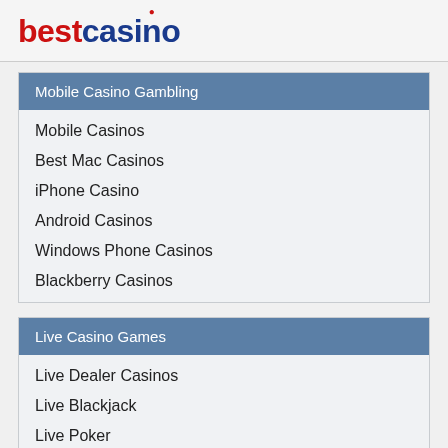bestcasino
Mobile Casino Gambling
Mobile Casinos
Best Mac Casinos
iPhone Casino
Android Casinos
Windows Phone Casinos
Blackberry Casinos
Live Casino Games
Live Dealer Casinos
Live Blackjack
Live Poker
Live Roulette